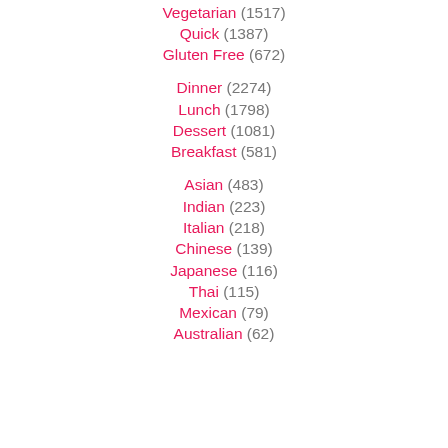Vegetarian (1517)
Quick (1387)
Gluten Free (672)
Dinner (2274)
Lunch (1798)
Dessert (1081)
Breakfast (581)
Asian (483)
Indian (223)
Italian (218)
Chinese (139)
Japanese (116)
Thai (115)
Mexican (79)
Australian (62)